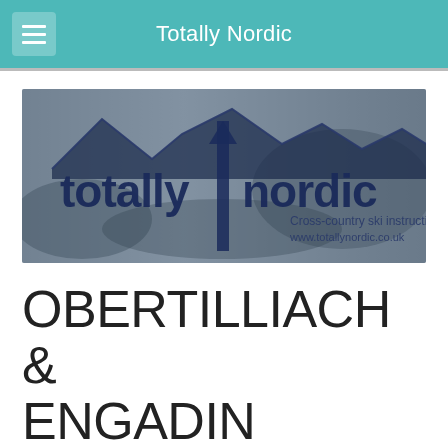Totally Nordic
[Figure (logo): Totally Nordic logo banner with mountain silhouette background and text 'totally nordic Cross-country ski instruction www.totallynordic.co.uk']
OBERTILLIACH & ENGADIN
Pay Per Lesson